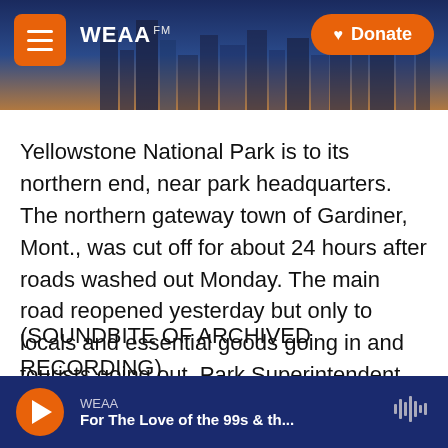[Figure (screenshot): WEAA radio station website header with city skyline background, hamburger menu button, WEAA FM logo, and orange Donate button]
Yellowstone National Park is to its northern end, near park headquarters. The northern gateway town of Gardiner, Mont., was cut off for about 24 hours after roads washed out Monday. The main road reopened yesterday but only to locals and essential goods going in and tourists going out. Park Superintendent Cam Sholly advised tourists to leave quickly.
(SOUNDBITE OF ARCHIVED RECORDING)
CAM SHOLLY: You just saw what just happened, so don't wait around and see if another event happens
WEAA
For The Love of the 99s & th...